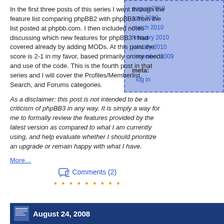august 2010
april 2010
march 2010
february 2010
january 2010
december 2009
meta:
log in
In the first three posts of this series I went through the feature list comparing phpBB2 with phpBB3 from the list posted at phpbb.com. I then included notes discussing which new features for phpBB3 I had covered already by adding MODs. At this point the score is 2-1 in my favor, based primarily on my needs and use of the code. This is the fourth post in that series and I will cover the Profiles/Memberlist, Search, and Forums categories.
As a disclaimer: this post is not intended to be a criticism of phpBB3 in any way. It is simply a way for me to formally review the features provided by the latest version as compared to what I am currently using, and help evaluate whether I should prioritize an upgrade or remain happy with what I have.
More…
Comments (2)
August 24, 2008